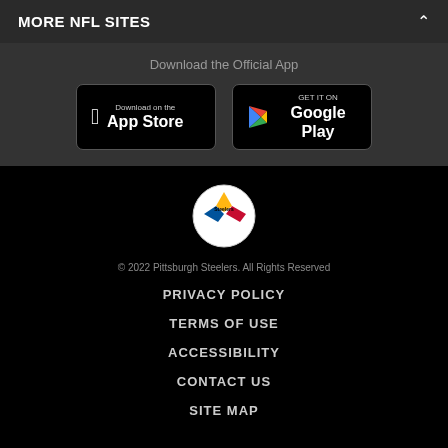MORE NFL SITES
Download the Official App
[Figure (screenshot): App Store and Google Play download buttons]
[Figure (logo): Pittsburgh Steelers logo — hypocycloid shape with three diamonds in red, yellow, blue on white circular background]
© 2022 Pittsburgh Steelers. All Rights Reserved
PRIVACY POLICY
TERMS OF USE
ACCESSIBILITY
CONTACT US
SITE MAP